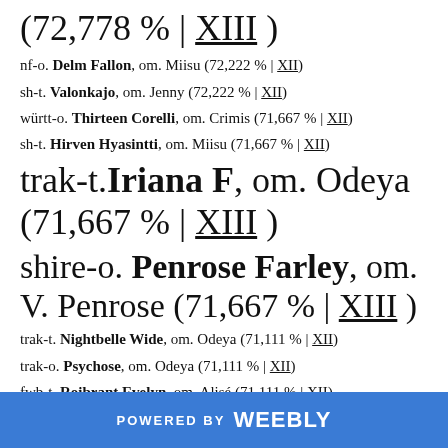(72,778 % | XIII )
nf-o. Delm Fallon, om. Miisu (72,222 % | XII)
sh-t. Valonkajo, om. Jenny (72,222 % | XII)
württ-o. Thirteen Corelli, om. Crimis (71,667 % | XII)
sh-t. Hirven Hyasintti, om. Miisu (71,667 % | XII)
trak-t. Iriana F, om. Odeya (71,667 % | XIII )
shire-o. Penrose Farley, om. V. Penrose (71,667 % | XIII )
trak-t. Nightbelle Wide, om. Odeya (71,111 % | XII)
trak-o. Psychose, om. Odeya (71,111 % | XII)
fwb-t. Roibrant Evelyn, om. Alisé (71,111 % | XII)
POWERED BY weebly